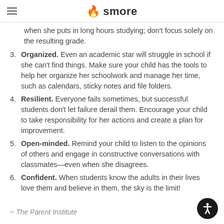smore
when she puts in long hours studying; don't focus solely on the resulting grade.
3. Organized. Even an academic star will struggle in school if she can't find things. Make sure your child has the tools to help her organize her schoolwork and manage her time, such as calendars, sticky notes and file folders.
4. Resilient. Everyone fails sometimes, but successful students don't let failure derail them. Encourage your child to take responsibility for her actions and create a plan for improvement.
5. Open-minded. Remind your child to listen to the opinions of others and engage in constructive conversations with classmates—even when she disagrees.
6. Confident. When students know the adults in their lives love them and believe in them, the sky is the limit!
~ The Parent Institute